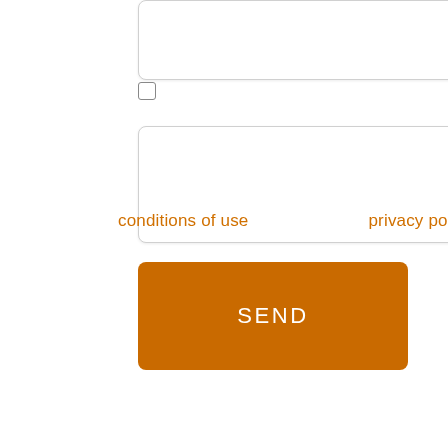[Figure (other): A white input text box (top, partially visible at page top)]
[Figure (other): A small unchecked checkbox]
[Figure (other): A white input text box (middle)]
conditions of use
privacy policy
[Figure (other): An orange SEND button]